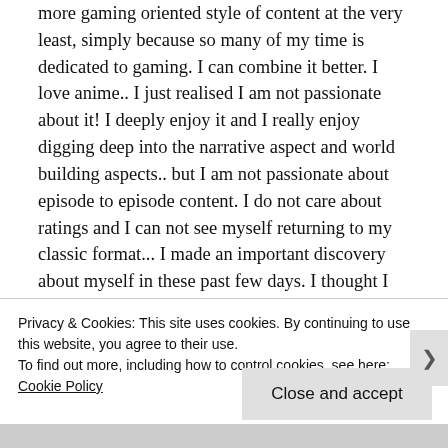more gaming oriented style of content at the very least, simply because so many of my time is dedicated to gaming. I can combine it better. I love anime.. I just realised I am not passionate about it! I deeply enjoy it and I really enjoy digging deep into the narrative aspect and world building aspects.. but I am not passionate about episode to episode content. I do not care about ratings and I can not see myself returning to my classic format... I made an important discovery about myself in these past few days. I thought I was looking for people who liked games and anime and wanted to talk about that... but I wasn't looking for that. I am thriving
Privacy & Cookies: This site uses cookies. By continuing to use this website, you agree to their use.
To find out more, including how to control cookies, see here: Cookie Policy